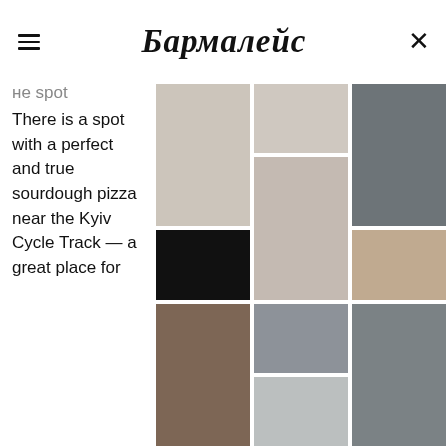Бармалейс
не spot

There is a spot with a perfect and true sourdough pizza near the Kyiv Cycle Track — a great place for
[Figure (illustration): Color palette grid with 10 swatches in muted neutral tones: light beige, light taupe, black, brown, pale grey-beige, warm grey, medium grey, muted greens-grey, slate grey, sandy beige, medium grey-blue]